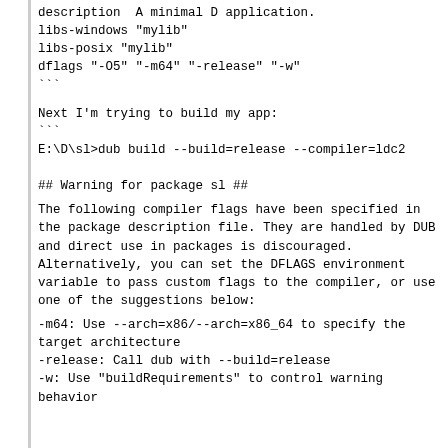description  A minimal D application.
libs-windows "mylib"
libs-posix "mylib"
dflags "-O5" "-m64" "-release" "-w"
```
Next I'm trying to build my app:
```
E:\D\sl>dub build --build=release --compiler=ldc2

## Warning for package sl ##
The following compiler flags have been specified in the package description file. They are handled by DUB and direct use in packages is discouraged. Alternatively, you can set the DFLAGS environment variable to pass custom flags to the compiler, or use one of the suggestions below:
-m64: Use --arch=x86/--arch=x86_64 to specify the target architecture
-release: Call dub with --build=release
-w: Use "buildRequirements" to control warning behavior